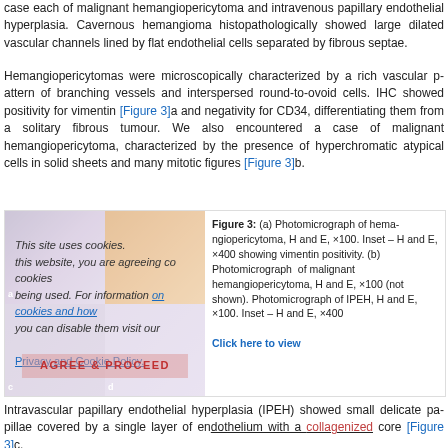case each of malignant hemangiopericytoma and intravenous papillary endothelial hyperplasia. Cavernous hemangioma histopathologically showed large dilated vascular channels lined by flat endothelial cells separated by fibrous septae.
Hemangiopericytomas were microscopically characterized by a rich vascular pattern of branching vessels and interspersed round-to-ovoid cells. IHC showed positivity for vimentin [Figure 3]a and negativity for CD34, differentiating them from a solitary fibrous tumour. We also encountered a case of malignant hemangiopericytoma, characterized by the presence of hyperchromatic atypical cells in solid sheets and many mitotic figures [Figure 3]b.
[Figure (photo): Photomicrograph grid showing four panels: (a) top-left and (b) top-right hemangiopericytoma H and E and IHC images; (c) bottom-left and (d) bottom-right IPEH images. Overlaid with cookie consent overlay and AGREE & PROCEED button.]
Figure 3: (a) Photomicrograph of hemangiopericytoma, H and E, ×100. Inset – H and E, ×400 showing vimentin positivity. (b) Photomicrograph of malignant hemangiopericytoma, H and E, ×100 (not shown). (c) Photomicrograph of IPEH, H and E, ×100. Inset – H and E, ×400
Click here to view
Intravascular papillary endothelial hyperplasia (IPEH) showed small delicate papillae covered by a single layer of endothelium with a collagenized core [Figure 3]c.
Among the lacrimal gland lesions, there were nine cases of pleomorphic adenoma, six cases of adenoid cystic carcinoma, three cases of lymphomas, and two cases of lymphoid hyperplasia. Patients were mainly females in their fourth decade of life.